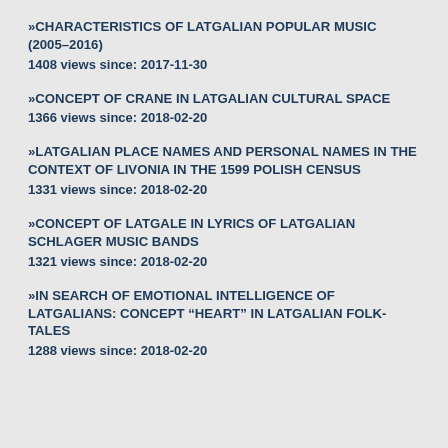»CHARACTERISTICS OF LATGALIAN POPULAR MUSIC (2005–2016)
1408 views since: 2017-11-30
»CONCEPT OF CRANE IN LATGALIAN CULTURAL SPACE
1366 views since: 2018-02-20
»LATGALIAN PLACE NAMES AND PERSONAL NAMES IN THE CONTEXT OF LIVONIA IN THE 1599 POLISH CENSUS
1331 views since: 2018-02-20
»CONCEPT OF LATGALE IN LYRICS OF LATGALIAN SCHLAGER MUSIC BANDS
1321 views since: 2018-02-20
»IN SEARCH OF EMOTIONAL INTELLIGENCE OF LATGALIANS: CONCEPT “HEART” IN LATGALIAN FOLK-TALES
1288 views since: 2018-02-20